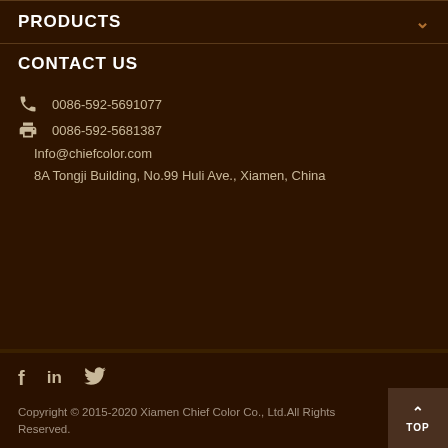PRODUCTS
CONTACT US
0086-592-5691077
0086-592-5681387
Info@chiefcolor.com
8A Tongji Building, No.99 Huli Ave., Xiamen, China
f  in  🐦
Copyright © 2015-2020 Xiamen Chief Color Co., Ltd.All Rights Reserved.